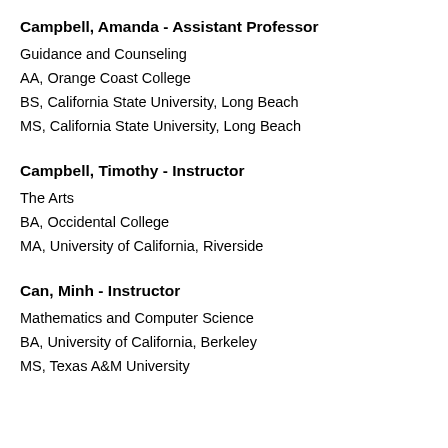Campbell, Amanda - Assistant Professor
Guidance and Counseling
AA, Orange Coast College
BS, California State University, Long Beach
MS, California State University, Long Beach
Campbell, Timothy - Instructor
The Arts
BA, Occidental College
MA, University of California, Riverside
Can, Minh - Instructor
Mathematics and Computer Science
BA, University of California, Berkeley
MS, Texas A&M University